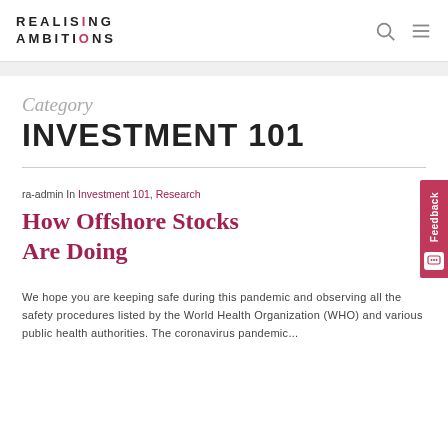REALISING AMBITIONS
Category
INVESTMENT 101
ra-admin In Investment 101, Research
How Offshore Stocks Are Doing
We hope you are keeping safe during this pandemic and observing all the safety procedures listed by the World Health Organization (WHO) and various public health authorities. The coronavirus pandemic...